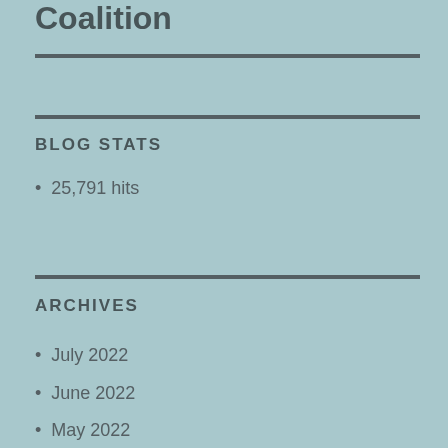Coalition
BLOG STATS
25,791 hits
ARCHIVES
July 2022
June 2022
May 2022